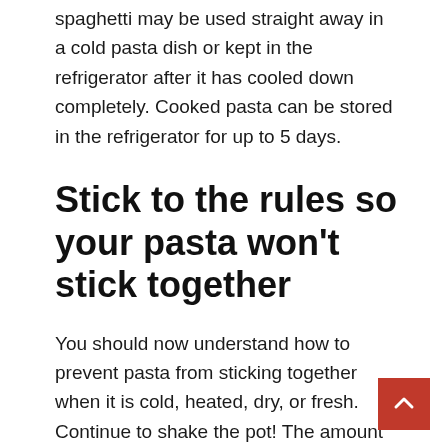spaghetti may be used straight away in a cold pasta dish or kept in the refrigerator after it has cooled down completely. Cooked pasta can be stored in the refrigerator for up to 5 days.
Stick to the rules so your pasta won't stick together
You should now understand how to prevent pasta from sticking together when it is cold, heated, dry, or fresh. Continue to shake the pot! The amount of effort you put into each stage of the preparation process as your dish comes together is the most important